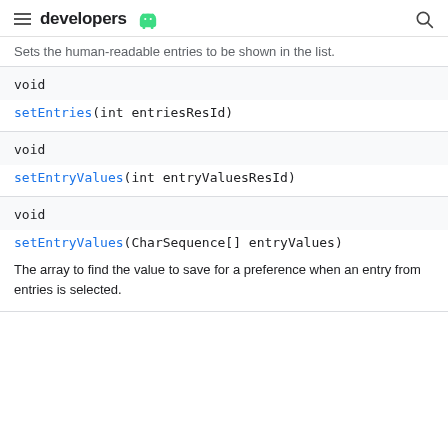developers
Sets the human-readable entries to be shown in the list.
void
setEntries(int entriesResId)
void
setEntryValues(int entryValuesResId)
void
setEntryValues(CharSequence[] entryValues)
The array to find the value to save for a preference when an entry from entries is selected.